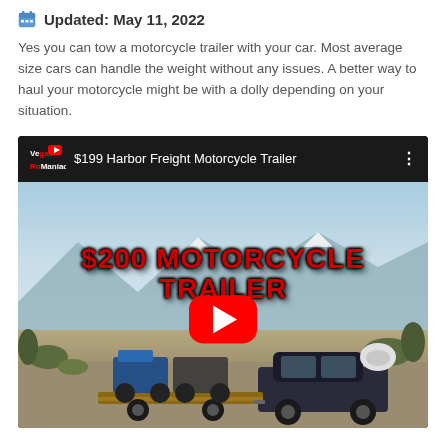Updated: May 11, 2022
Yes you can tow a motorcycle trailer with your car. Most average size cars can handle the weight without any issues. A better way to haul your motorcycle might be with a dolly depending on your situation.
[Figure (screenshot): YouTube video thumbnail for '$199 Harbor Freight Motorcycle Trailer' by Vegas RoManiac channel, showing a car towing a flatbed trailer with two motorcycles in a desert landscape, with '$200 MOTORCYCLE TRAILER' text overlay and red YouTube play button]